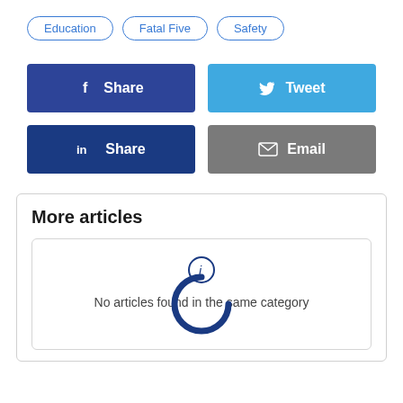Education
Fatal Five
Safety
[Figure (screenshot): Four social share buttons: Facebook Share (dark blue), Tweet (light blue), LinkedIn Share (dark blue), Email (gray)]
More articles
No articles found in the same category